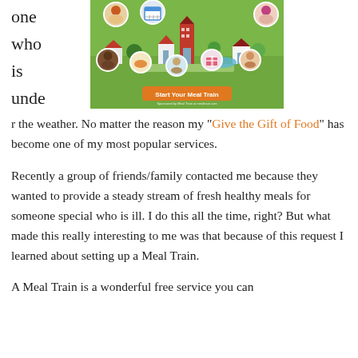one
who
is
unde
[Figure (infographic): Meal Train infographic showing a colorful illustrated community scene with houses, trees, and people avatars in circles, with an orange 'Start Your Meal Train' button at the bottom on a green background.]
r the weather. No matter the reason my “Give the Gift of Food” has become one of my most popular services.
Recently a group of friends/family contacted me because they wanted to provide a steady stream of fresh healthy meals for someone special who is ill. I do this all the time, right? But what made this really interesting to me was that because of this request I learned about setting up a Meal Train.
A Meal Train is a wonderful free service you can